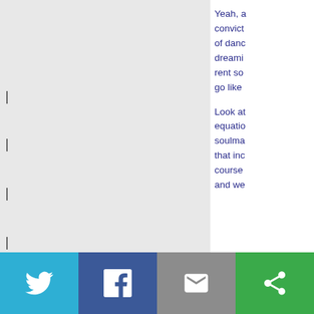Yeah, a convict of danc dreami rent so go like Look a equatio soulma that inc course and we
[Figure (other): Social share buttons: Twitter (blue), Facebook (dark blue), Email (gray), More/Share (green)]